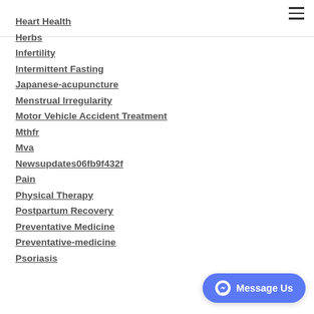☰
Heart Health
Herbs
Infertility
Intermittent Fasting
Japanese-acupuncture
Menstrual Irregularity
Motor Vehicle Accident Treatment
Mthfr
Mva
Newsupdates06fb9f432f
Pain
Physical Therapy
Postpartum Recovery
Preventative Medicine
Preventative-medicine
Psoriasis